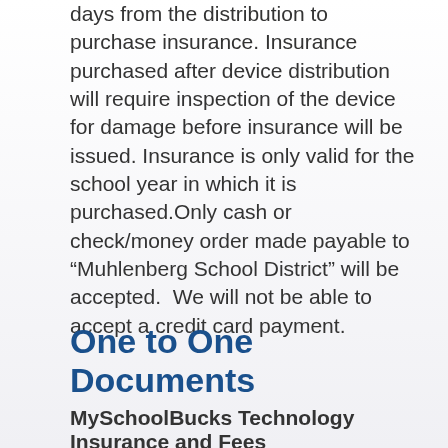days from the distribution to purchase insurance. Insurance purchased after device distribution will require inspection of the device for damage before insurance will be issued. Insurance is only valid for the school year in which it is purchased.Only cash or check/money order made payable to “Muhlenberg School District” will be accepted.  We will not be able to accept a credit card payment.
One to One Documents
MySchoolBucks Technology Insurance and Fees